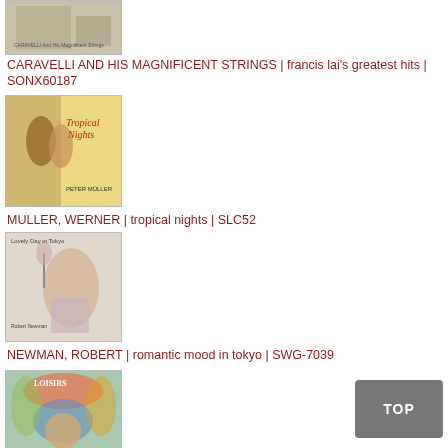[Figure (photo): Album cover for Caravelli and His Magnificent Strings - partially visible at top]
CARAVELLI AND HIS MAGNIFICENT STRINGS | francis lai's greatest hits | SONX60187
[Figure (photo): Album cover for Muller, Werner - Tropical Nights, showing a couple dancing]
MULLER, WERNER | tropical nights | SLC52
[Figure (photo): Album cover for Newman, Robert - Romantic Mood in Tokyo, showing a woman with a glass]
NEWMAN, ROBERT | romantic mood in tokyo | SWG-7039
[Figure (photo): Album cover partially visible at bottom of page]